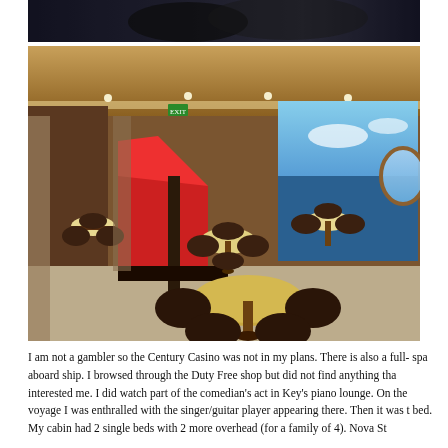[Figure (photo): Top portion of a photo showing a dark interior scene, partially cropped at the top of the page.]
[Figure (photo): Interior of a cruise ship lounge/casino area with round tables, dark leather chairs, red booth seating along a central divider, wood-paneled walls and ceiling, and large windows showing ocean views.]
I am not a gambler so the Century Casino was not in my plans. There is also a full-spa aboard ship. I browsed through the Duty Free shop but did not find anything that interested me. I did watch part of the comedian's act in Key's piano lounge. On the voyage I was enthralled with the singer/guitar player appearing there. Then it was to bed. My cabin had 2 single beds with 2 more overhead (for a family of 4). Nova St